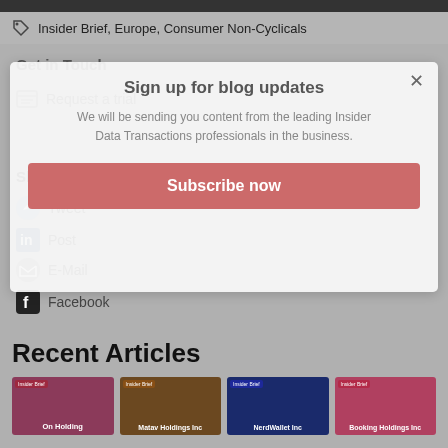Tags
Insider Brief, Europe, Consumer Non-Cyclicals
Get in Touch
Request a trial
Share this Article
Tweet
Post
E-Mail
Facebook
[Figure (screenshot): Modal popup: Sign up for blog updates. Text: We will be sending you content from the leading Insider Data Transactions professionals in the business. Subscribe now button (pink/red).]
Recent Articles
[Figure (infographic): Four article thumbnail cards: On Holding, Matav Holdings Inc, NerdWallet Inc, Booking Holdings Inc]